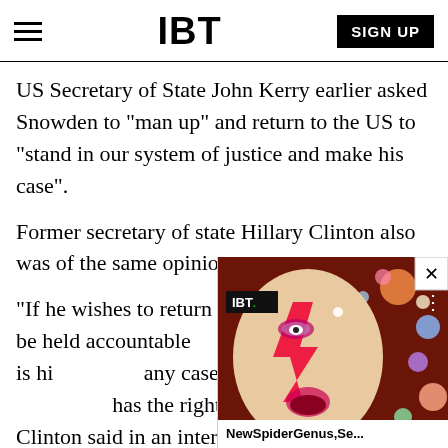IBT
US Secretary of State John Kerry earlier asked Snowden to "man up" and return to the US to "stand in our system of justice and make his case".
Former secretary of state Hillary Clinton also was of the same opinion.
"If he wishes to return hom[e he would be held accountable and] present a defence, that is hi[s right. In] any case I'm aware of as a [lawyer, he] has the right to mount a defence," Clinton said in an interview with the Guardian.
[Figure (screenshot): Video overlay thumbnail showing a person with colorful face paint (Ziggy Stardust style), with IBT logo badge and title 'NewSpiderGenus,Se...' and a close button X in the top right corner.]